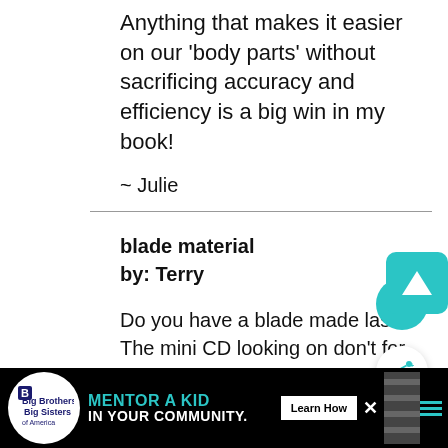Anything that makes it easier on our 'body parts' without sacrificing accuracy and efficiency is a big win in my book!
~ Julie
blade material
by: Terry
Do you have a blade made last? The mini CD looking on don't for me.
[Figure (screenshot): Ad banner: Big Brothers Big Sisters — Mentor a Kid in Your Community. Learn How button. Close X button.]